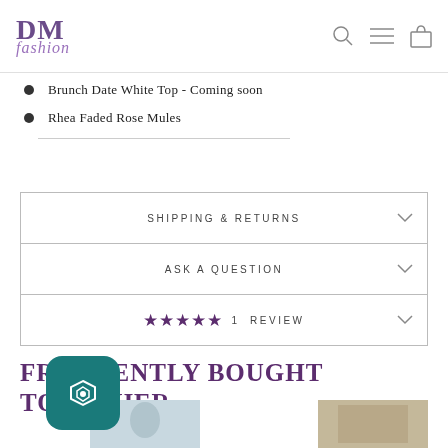DM fashion
Brunch Date White Top - Coming soon
Rhea Faded Rose Mules
| SHIPPING & RETURNS |
| ASK A QUESTION |
| ★★★★★  1 REVIEW |
FREQUENTLY BOUGHT TOGETHER